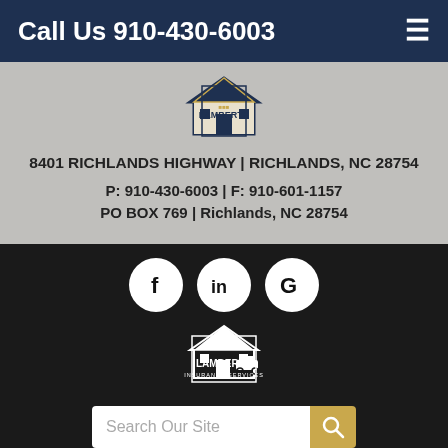Call Us 910-430-6003
8401 RICHLANDS HIGHWAY | RICHLANDS, NC 28754
P: 910-430-6003 | F: 910-601-1157
PO BOX 769 | Richlands, NC 28754
[Figure (logo): Lamberth Insurance Services logo (color version) - house and car icon with LAMBERTH text]
[Figure (logo): Social media icons: Facebook (f), LinkedIn (in), Google (G) in white circles on black background]
[Figure (logo): Lamberth Insurance Services logo (white version on black background)]
Search Our Site
Powered by Insurance Website Builder